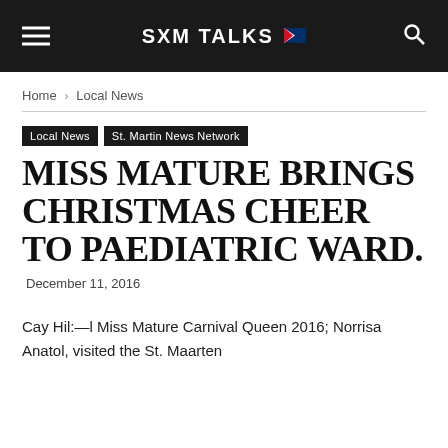SXM TALKS
Home › Local News
Local News  St. Martin News Network
MISS MATURE BRINGS CHRISTMAS CHEER TO PAEDIATRIC WARD.
December 11, 2016
Cay Hil:—l Miss Mature Carnival Queen 2016; Norrisa Anatol, visited the St. Maarten